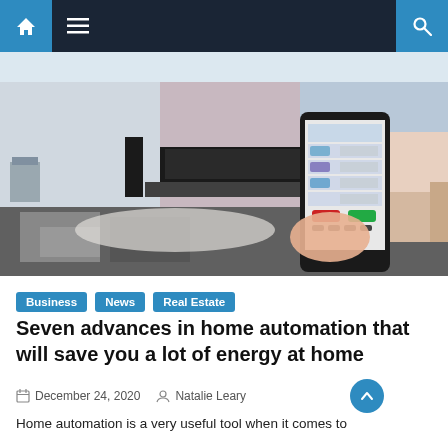Navigation bar with home icon, menu icon, and search icon
[Figure (photo): Person lying on a couch in a modern living room holding a smartphone with a home automation control app displayed on screen. The room features a flat-screen TV, speaker stands, and modern decor with mood lighting.]
Business
News
Real Estate
Seven advances in home automation that will save you a lot of energy at home
December 24, 2020   Natalie Leary
Home automation is a very useful tool when it comes to